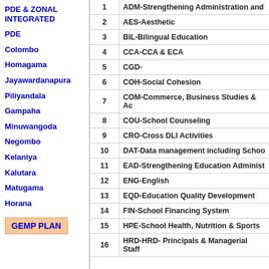PDE & ZONAL INTEGRATED
PDE
Colombo
Homagama
Jayawardanapura
Piliyandala
Gampaha
Minuwangoda
Negombo
Kelaniya
Kalutara
Matugama
Horana
GEMP PLAN
| # | Description |
| --- | --- |
| 1 | ADM-Strengthening Administration and |
| 2 | AES-Aesthetic |
| 3 | BIL-Bilingual Education |
| 4 | CCA-CCA & ECA |
| 5 | CGD- |
| 6 | COH-Social Cohesion |
| 7 | COM-Commerce, Business Studies & Ac |
| 8 | COU-School Counseling |
| 9 | CRO-Cross DLI Activities |
| 10 | DAT-Data management including Schoo |
| 11 | EAD-Strengthening Education Administ |
| 12 | ENG-English |
| 13 | EQD-Education Quality Development |
| 14 | FIN-School Financing System |
| 15 | HPE-School Health, Nutrition & Sports |
| 16 | HRD-HRD- Principals & Managerial Staff |